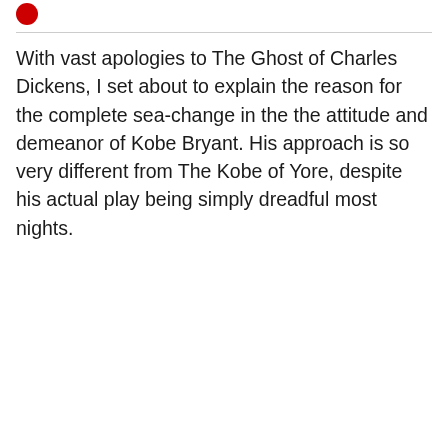With vast apologies to The Ghost of Charles Dickens, I set about to explain the reason for the complete sea-change in the the attitude and demeanor of Kobe Bryant. His approach is so very different from The Kobe of Yore, despite his actual play being simply dreadful most nights.